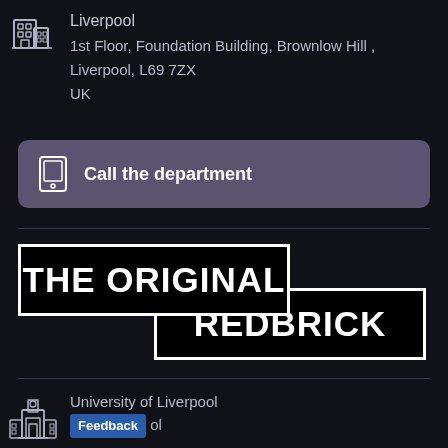Liverpool
1st Floor, Foundation Building, Brownlow Hill , Liverpool, L69 7ZX
UK
Call the department
[Figure (logo): THE ORIGINAL REDBRICK logo — two overlapping black rectangles with white borders. Top box: 'THE ORIGINAL', bottom box (offset right): 'REDBRICK']
University of Liverpool
Feedback ol